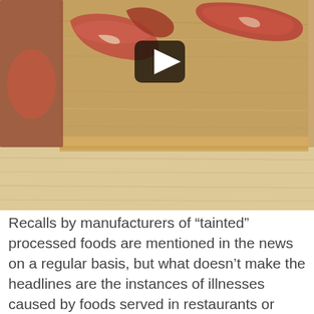[Figure (photo): Photo of raw meat pieces on a wooden cutting board, with a video play button overlay in the center]
Recalls by manufacturers of “tainted” processed foods are mentioned in the news on a regular basis, but what doesn’t make the headlines are the instances of illnesses caused by foods served in restaurants or other eating establishments. Most